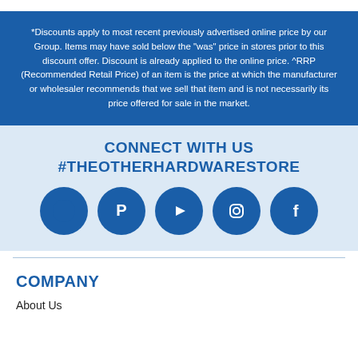*Discounts apply to most recent previously advertised online price by our Group. Items may have sold below the "was" price in stores prior to this discount offer. Discount is already applied to the online price. ^RRP (Recommended Retail Price) of an item is the price at which the manufacturer or wholesaler recommends that we sell that item and is not necessarily its price offered for sale in the market.
CONNECT WITH US
#THEOTHERHARDWARESTORE
[Figure (illustration): Five social media icons in dark blue circles: unidentified/Twitter-like, Pinterest, YouTube, Instagram, Facebook]
COMPANY
About Us